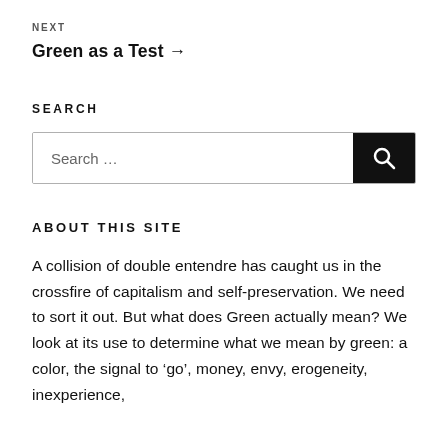NEXT
Green as a Test →
SEARCH
Search …
ABOUT THIS SITE
A collision of double entendre has caught us in the crossfire of capitalism and self-preservation. We need to sort it out. But what does Green actually mean? We look at its use to determine what we mean by green: a color, the signal to 'go', money, envy, erogeneity, inexperience,